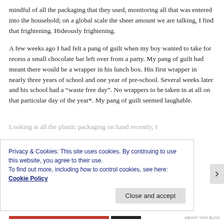mindful of all the packaging that they used, monitoring all that was entered into the household; on a global scale the sheer amount we are talking, I find that frightening. Hideously frightening.
A few weeks ago I had felt a pang of guilt when my boy wanted to take for recess a small chocolate bar left over from a party. My pang of guilt had meant there would be a wrapper in his lunch box. His first wrapper in nearly three years of school and one year of pre-school. Several weeks later and his school had a “waste free day”. No wrappers to be taken in at all on that particular day of the year*. My pang of guilt seemed laughable.
Looking at all the plastic packaging on hand recently, I
Privacy & Cookies: This site uses cookies. By continuing to use this website, you agree to their use.
To find out more, including how to control cookies, see here: Cookie Policy